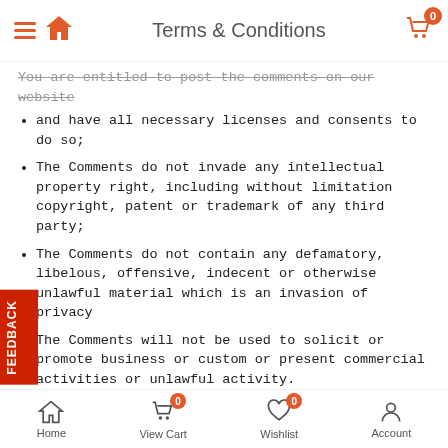Terms & Conditions
You are entitled to post the comments on our website and have all necessary licenses and consents to do so;
The Comments do not invade any intellectual property right, including without limitation copyright, patent or trademark of any third party;
The Comments do not contain any defamatory, libelous, offensive, indecent or otherwise unlawful material which is an invasion of privacy
The Comments will not be used to solicit or promote business or custom or present commercial activities or unlawful activity.
u hereby grant Kavya Inc. a non-exclusive license to use, reproduce, edit and authorize others to use, reproduce and edit any of your Comments in any and all forms, formats or media.
Home | View Cart 0 | Wishlist 0 | Account